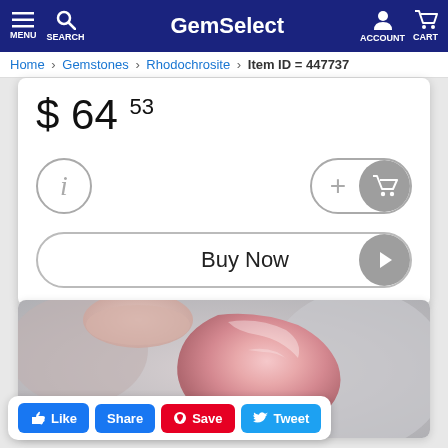GemSelect — MENU SEARCH ACCOUNT CART
Home > Gemstones > Rhodochrosite > Item ID = 447737
$ 64 .53
[Figure (screenshot): Info button (i in circle) and Add to Cart button with + and cart icon]
Buy Now
[Figure (photo): Close-up photo of a pink rhodochrosite gemstone being held between fingers]
Like  Share  Save  Tweet